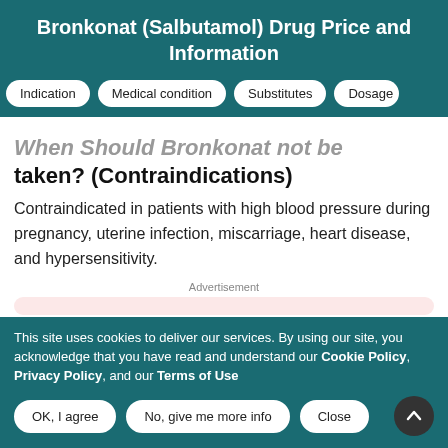Bronkonat (Salbutamol) Drug Price and Information
When Should Bronkonat not be taken? (Contraindications)
Contraindicated in patients with high blood pressure during pregnancy, uterine infection, miscarriage, heart disease, and hypersensitivity.
Advertisement
This site uses cookies to deliver our services. By using our site, you acknowledge that you have read and understand our Cookie Policy, Privacy Policy, and our Terms of Use